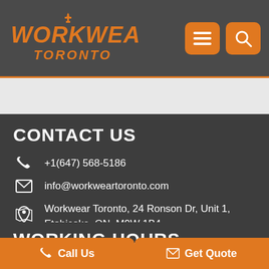[Figure (logo): Workwear Toronto logo in orange with CN Tower graphic, on dark gray header bar with orange hamburger menu and search icons]
CONTACT US
+1(647) 568-5186
info@workweartoronto.com
Workwear Toronto, 24 Ronson Dr, Unit 1, Etobicoke, ON, M9W 1B4
WORKING HOURS
Call Us
Get Quote